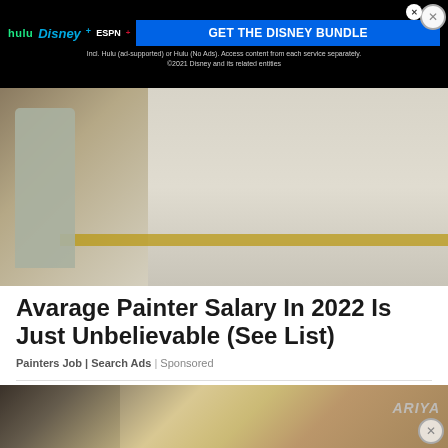[Figure (other): Disney Bundle advertisement banner with Hulu, Disney+, ESPN+ logos and blue GET THE DISNEY BUNDLE button on black background. Small print: Incl. Hulu (ad-supported) or Hulu (No Ads). Access content from each service separately. ©2021 Disney and its related entities]
[Figure (photo): A person painting a wall, wearing light gray clothing, standing near what appears to be stair railing area, painting a beige/white wall]
Avarage Painter Salary In 2022 Is Just Unbelievable (See List)
Painters Job | Search Ads | Sponsored
[Figure (photo): A Nissan Ariya electric SUV in bronze/copper color at what appears to be an auto show, with the ARIYA logo visible. Dark background on left side with display screens.]
[Figure (other): Disney Bundle advertisement banner at bottom with Hulu, Disney+, ESPN+ logos and blue GET THE DISNEY BUNDLE button. Small print: Incl. Hulu (ad-supported) or Hulu (No Ads). Access content from each service separately. ©2021 Disney and its related entities]